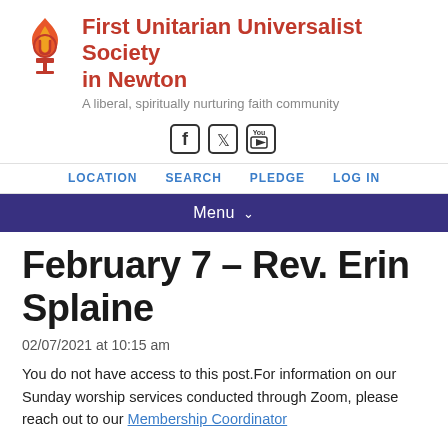First Unitarian Universalist Society in Newton
A liberal, spiritually nurturing faith community
[Figure (logo): UU chalice flame logo in red and orange]
[Figure (infographic): Social media icons: Facebook, Twitter, YouTube]
LOCATION   SEARCH   PLEDGE   LOG IN
Menu
February 7 – Rev. Erin Splaine
02/07/2021 at 10:15 am
You do not have access to this post.For information on our Sunday worship services conducted through Zoom, please reach out to our Membership Coordinator